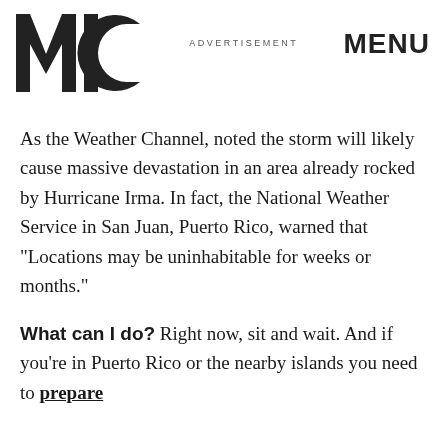MIC  ADVERTISEMENT  MENU
As the Weather Channel, noted the storm will likely cause massive devastation in an area already rocked by Hurricane Irma. In fact, the National Weather Service in San Juan, Puerto Rico, warned that “Locations may be uninhabitable for weeks or months.”
What can I do? Right now, sit and wait. And if you’re in Puerto Rico or the nearby islands you need to prepare